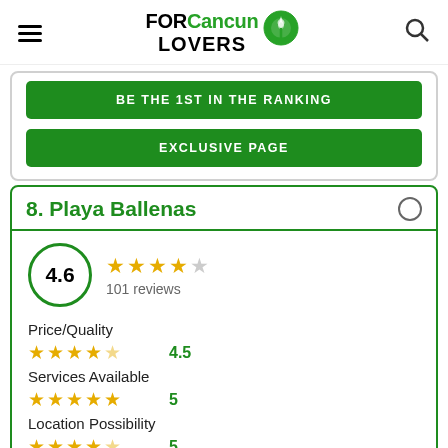FOR Cancun LOVERS
BE THE 1ST IN THE RANKING
EXCLUSIVE PAGE
8. Playa Ballenas
4.6 — 101 reviews
Price/Quality — 4.5
Services Available — 5
Location Possibility — 5